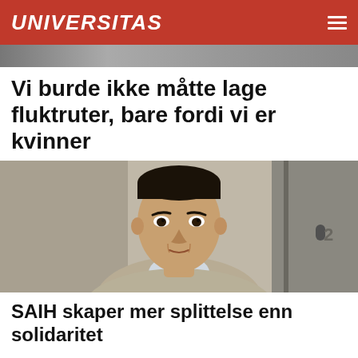UNIVERSITAS
[Figure (photo): Partial photo of two people at the top of the page, cropped]
Vi burde ikke måtte lage fluktruter, bare fordi vi er kvinner
[Figure (photo): Portrait photo of a young man wearing a beige knit sweater over a striped collared shirt, standing indoors]
SAIH skaper mer splittelse enn solidaritet